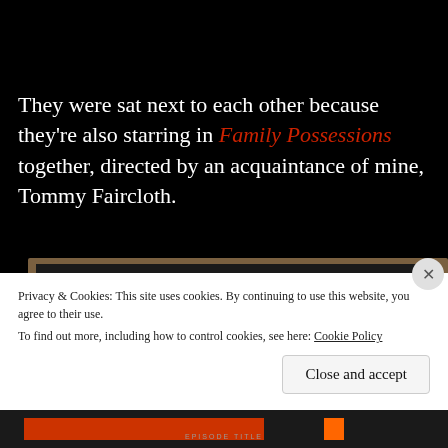They were sat next to each other because they're also starring in Family Possessions together, directed by an acquaintance of mine, Tommy Faircloth.
[Figure (photo): Movie poster or promotional material showing tagline 'SOME FAMILY SECRETS SHOULD REMAIN BURIED' in white uppercase letters on a dark background, framed with a wooden border]
Privacy & Cookies: This site uses cookies. By continuing to use this website, you agree to their use.
To find out more, including how to control cookies, see here: Cookie Policy